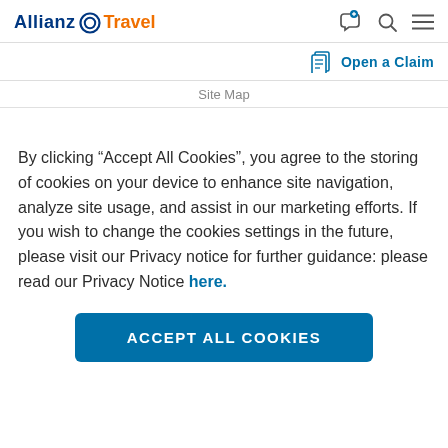Allianz Travel
Open a Claim
Site Map
By clicking “Accept All Cookies”, you agree to the storing of cookies on your device to enhance site navigation, analyze site usage, and assist in our marketing efforts. If you wish to change the cookies settings in the future, please visit our Privacy notice for further guidance: please read our Privacy Notice here.
ACCEPT ALL COOKIES